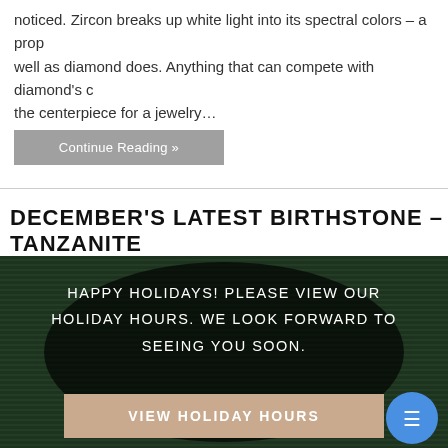noticed. Zircon breaks up white light into its spectral colors – a prop well as diamond does. Anything that can compete with diamond's c the centerpiece for a jewelry…
Continue Reading »
DECEMBER'S LATEST BIRTHSTONE – TANZANITE
[Figure (photo): Dark green textured background (appears to be a dark green ornamental pattern) with centered white text reading 'HAPPY HOLIDAYS! PLEASE VIEW OUR HOLIDAY HOURS. WE LOOK FORWARD TO SEEING YOU SOON.' and a beige/tan button at bottom reading 'VIEW HOLIDAY HOURS', plus a blue chat bubble icon button in bottom right.]